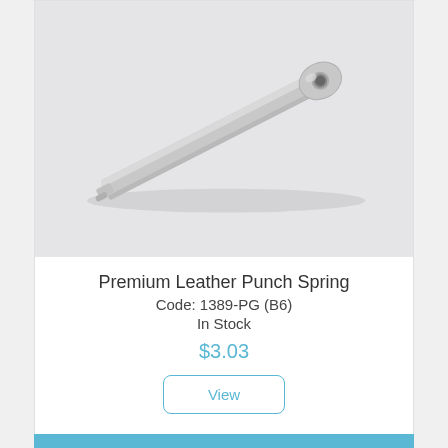[Figure (photo): Product photo of a metal leather punch spring — a flat elongated steel bar with a small hooked notch at one end and a rounded tab with a hole at the other end, photographed on a light gray background.]
Premium Leather Punch Spring
Code: 1389-PG (B6)
In Stock
$3.03
View